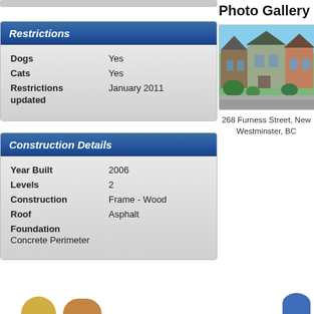| Field | Value |
| --- | --- |
| Dogs | Yes |
| Cats | Yes |
| Restrictions updated | January 2011 |
| Field | Value |
| --- | --- |
| Year Built | 2006 |
| Levels | 2 |
| Construction | Frame - Wood |
| Roof | Asphalt |
| Foundation | Concrete Perimeter |
Photo Gallery
[Figure (photo): Exterior photo of houses at 268 Furness Street, New Westminster, BC]
268 Furness Street, New Westminster, BC
MLS® Disclaimer fo
This representation is base... Board, Fraser Valley Real ... responsibility for its accuracy.